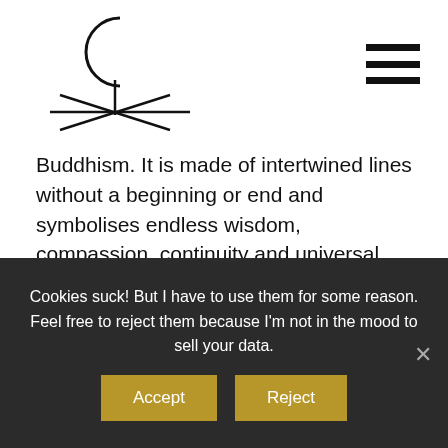[Figure (logo): Buddhist/spiritual symbol logo with crescent moon and crossed lines, black on white]
Buddhism. It is made of intertwined lines without a beginning or end and symbolises endless wisdom, compassion, continuity and universal oneness, reminding us all consciousness is…
READ MORE
SUBSCRIBE
Sign up to my newsletter and get a free wallpaper!
Cookies suck! But I have to use them for some reason. Feel free to reject them because I'm not in the mood to sell your data.